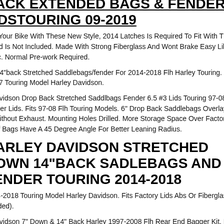BACK EXTENDED BAGS & FENDER LIDSTOURING 09-2019
ade Your Bike With These New Style, 2014 Latches Is Required To Fit With This o And Is Not Included. Made With Strong Fiberglass And Wont Brake Easy Like lastic. Normal Pre-work Required.
wn 14"back Stretched Saddlebags/fender For 2014-2018 Flh Harley Touring. Fits -2017 Touring Model Harley Davidson.
y Davidson Drop Back Stretched Saddlbags Fender 6.5 #3 Lids Touring 97-08. 6. peaker Lids. Fits 97-08 Flh Touring Models. 6" Drop Back Saddlebags Overlay er Without Exhaust. Mounting Holes Drilled. More Storage Space Over Factory. m Of Bags Have A 45 Degree Angle For Better Leaning Radius.
HARLEY DAVIDSON STRETCHED DOWN 14"BACK SADLEBAGS AND FENDER TOURING 2014-2018
2014-2018 Touring Model Harley Davidson. Fits Factory Lids Abs Or Fiberglass ncluded).
y Davidson 7" Down & 14" Back Harley 1997-2008 Flh Rear End Bagger Kit. Fits -2008 Touring Model Harley Davidson. You Will Need The 2014 New Style Lids